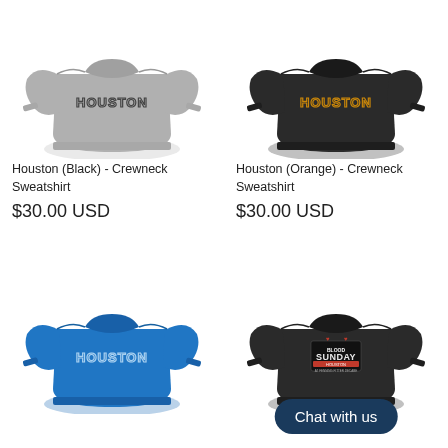[Figure (photo): Gray crewneck sweatshirt with HOUSTON text in dark outline letters on chest]
Houston (Black) - Crewneck Sweatshirt
$30.00 USD
[Figure (photo): Black crewneck sweatshirt with HOUSTON text in orange/gold outline letters on chest]
Houston (Orange) - Crewneck Sweatshirt
$30.00 USD
[Figure (photo): Royal blue crewneck sweatshirt with HOUSTON text in light blue outline letters on chest]
[Figure (photo): Black crewneck sweatshirt with Sunday Houston graphic on chest, and a dark navy oval chat button overlay reading 'Chat with us']